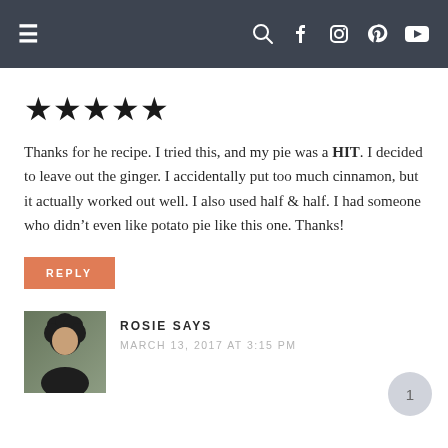≡  [search] [facebook] [instagram] [pinterest] [youtube]
[Figure (other): Five filled star rating icons]
Thanks for he recipe. I tried this, and my pie was a HIT. I decided to leave out the ginger. I accidentally put too much cinnamon, but it actually worked out well. I also used half & half. I had someone who didn't even like potato pie like this one. Thanks!
REPLY
[Figure (photo): Avatar photo of Rosie, a person with dark curly hair]
ROSIE SAYS
MARCH 13, 2017 AT 3:15 PM